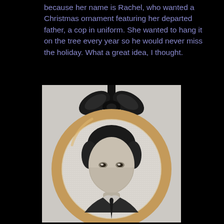because her name is Rachel, who wanted a Christmas ornament featuring her departed father, a cop in uniform. She wanted to hang it on the tree every year so he would never miss the holiday. What a great idea, I thought.
[Figure (photo): A circular embroidery hoop ornament with a black ribbon bow at the top. Inside the hoop is a black-and-white photo of a middle-aged man in a suit, smiling slightly. The hoop has a natural wood-colored border.]